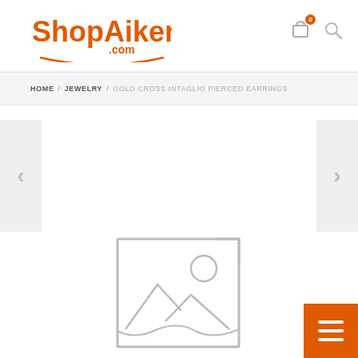[Figure (logo): ShopAiken.com logo in orange with arc underline]
HOME / JEWELRY / GOLD CROSS INTAGLIO PIERCED EARRINGS
[Figure (illustration): Product image placeholder with mountain/sun icon]
[Figure (other): Orange hamburger menu button in bottom right corner]